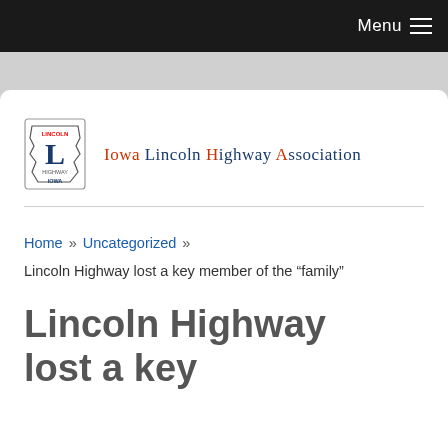Menu
[Figure (logo): Iowa Lincoln Highway Association logo: outline of Iowa state with a large L in the center and text reading Iowa Lincoln Highway Association]
Home » Uncategorized »
Lincoln Highway lost a key member of the “family”
Lincoln Highway lost a key